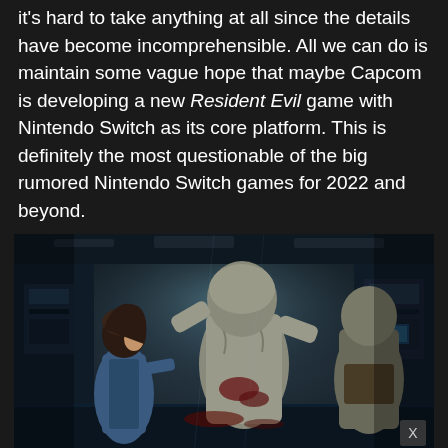it's hard to take anything at all since the details have become incomprehensible. All we can do is maintain some vague hope that maybe Capcom is developing a new Resident Evil game with Nintendo Switch as its core platform. This is definitely the most questionable of the big rumored Nintendo Switch games for 2022 and beyond.
[Figure (screenshot): Screenshot from a Resident Evil game showing a female character in a blue outfit facing a large pale humanoid monster/zombie creature in a dark industrial environment]
Back To School Shopping Deals Leesburg Premium Outlets